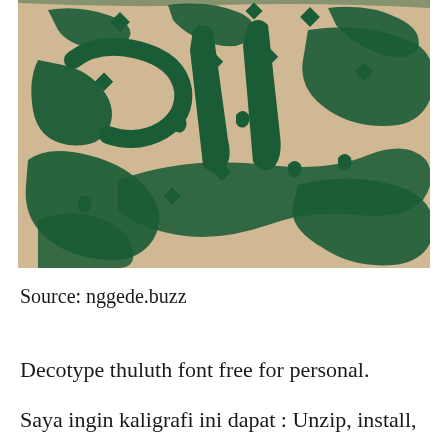[Figure (illustration): Close-up photograph of Arabic calligraphy art in dark green ink on a beige/tan textured background, showing flowing Thuluth-style calligraphic script with decorative diacritical marks.]
Source: nggede.buzz
Decotype thuluth font free for personal.
Saya ingin kaligrafi ini dapat : Unzip, install,